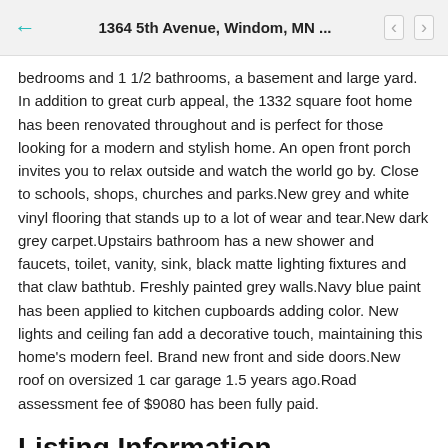1364 5th Avenue, Windom, MN ...
bedrooms and 1 1/2 bathrooms, a basement and large yard. In addition to great curb appeal, the 1332 square foot home has been renovated throughout and is perfect for those looking for a modern and stylish home. An open front porch invites you to relax outside and watch the world go by. Close to schools, shops, churches and parks.New grey and white vinyl flooring that stands up to a lot of wear and tear.New dark grey carpet.Upstairs bathroom has a new shower and faucets, toilet, vanity, sink, black matte lighting fixtures and that claw bathtub. Freshly painted grey walls.Navy blue paint has been applied to kitchen cupboards adding color. New lights and ceiling fan add a decorative touch, maintaining this home's modern feel. Brand new front and side doors.New roof on oversized 1 car garage 1.5 years ago.Road assessment fee of $9080 has been fully paid.
Listing Information